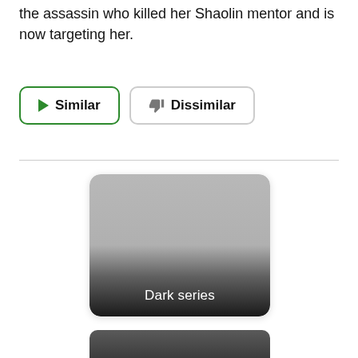the assassin who killed her Shaolin mentor and is now targeting her.
Similar | Dissimilar (buttons)
[Figure (screenshot): A card with a gray-to-dark gradient background and white text reading 'Dark series', with rounded corners.]
[Figure (photo): Partial view of a dark cinematic photo at the bottom of the page, partially cut off.]